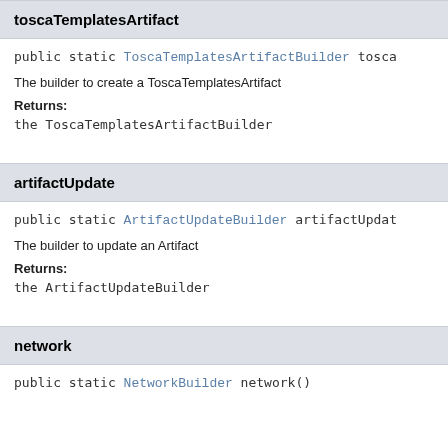toscaTemplatesArtifact
public static ToscaTemplatesArtifactBuilder tosca
The builder to create a ToscaTemplatesArtifact
Returns:
the ToscaTemplatesArtifactBuilder
artifactUpdate
public static ArtifactUpdateBuilder artifactUpdat
The builder to update an Artifact
Returns:
the ArtifactUpdateBuilder
network
public static NetworkBuilder network()